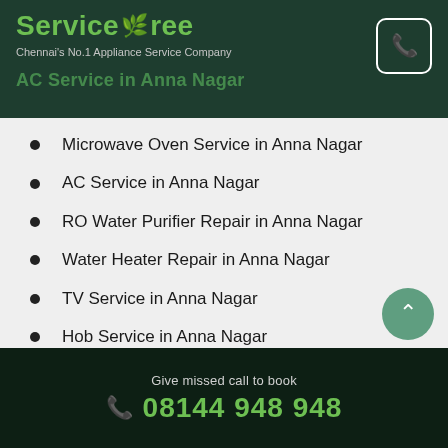ServiceTree - Chennai's No.1 Appliance Service Company
Microwave Oven Service in Anna Nagar
AC Service in Anna Nagar
RO Water Purifier Repair in Anna Nagar
Water Heater Repair in Anna Nagar
TV Service in Anna Nagar
Hob Service in Anna Nagar
RO Water Purifier Cleaning in Anna Nagar
Give missed call to book 08144 948 948